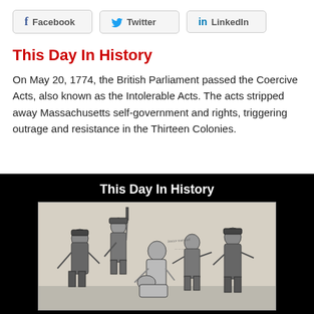Facebook  Twitter  LinkedIn
This Day In History
On May 20, 1774, the British Parliament passed the Coercive Acts, also known as the Intolerable Acts.  The acts stripped away Massachusetts self-government and rights, triggering outrage and resistance in the Thirteen Colonies.
[Figure (illustration): Black background video thumbnail with bold white text 'This Day In History' and a historical etching showing colonial-era figures, some threatening a central figure, with a crowd scene typical of 18th century political cartoons about the Coercive Acts.]